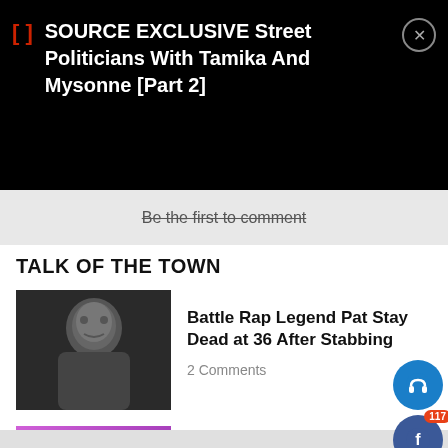SOURCE EXCLUSIVE Street Politicians With Tamika And Mysonne [Part 2]
Be the first to comment
TALK OF THE TOWN
[Figure (photo): Black and white photo of a man]
Battle Rap Legend Pat Stay Dead at 36 After Stabbing
2 Comments
[Figure (photo): Photo of Ice Cube performing on stage with purple background]
Ice Cube, Cypress Hill, Meth & Red Announced As ‘High Hopes’ Headliners